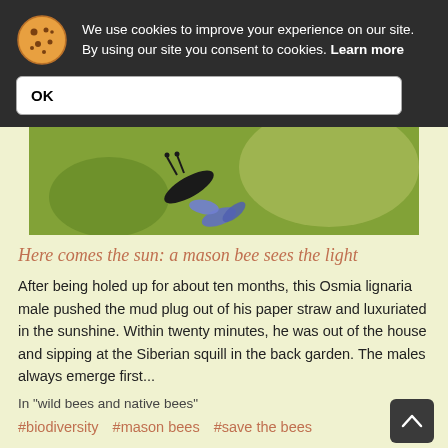We use cookies to improve your experience on our site. By using our site you consent to cookies. Learn more
OK
[Figure (photo): Close-up photo of a mason bee (Osmia lignaria) on a blue flower, with green background]
Here comes the sun: a mason bee sees the light
After being holed up for about ten months, this Osmia lignaria male pushed the mud plug out of his paper straw and luxuriated in the sunshine. Within twenty minutes, he was out of the house and sipping at the Siberian squill in the back garden. The males always emerge first...
In "wild bees and native bees"
#biodiversity  #mason bees  #save the bees